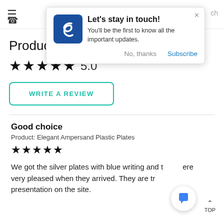[Figure (screenshot): Website popup notification with logo, title 'Let's stay in touch!', subtitle text, and action buttons 'No, thanks' and 'Subscribe']
Product Reviews (3)
★★★★★ 5.0
WRITE A REVIEW
Good choice
Product: Elegant Ampersand Plastic Plates
★★★★★
We got the silver plates with blue writing and they were very pleased when they arrived. They are true to the presentation on the site.